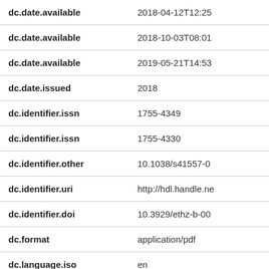| Field | Value |
| --- | --- |
| dc.date.available | 2018-04-12T12:25 |
| dc.date.available | 2018-10-03T08:01 |
| dc.date.available | 2019-05-21T14:53 |
| dc.date.issued | 2018 |
| dc.identifier.issn | 1755-4349 |
| dc.identifier.issn | 1755-4330 |
| dc.identifier.other | 10.1038/s41557-0 |
| dc.identifier.uri | http://hdl.handle.ne |
| dc.identifier.doi | 10.3929/ethz-b-00 |
| dc.format | application/pdf |
| dc.language.iso | en |
| dc.publisher | Nature Publishing |